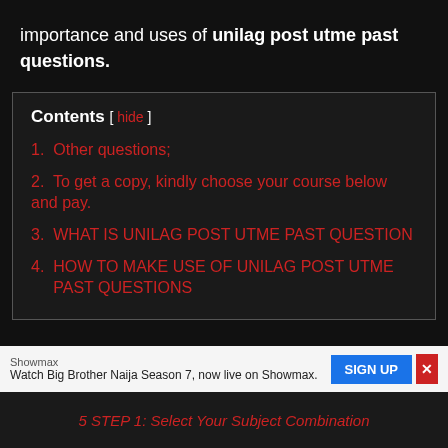importance and uses of unilag post utme past questions.
Contents [ hide ]
1. Other questions;
2. To get a copy, kindly choose your course below and pay.
3. WHAT IS UNILAG POST UTME PAST QUESTION
4. HOW TO MAKE USE OF UNILAG POST UTME PAST QUESTIONS
Showmax
Watch Big Brother Naija Season 7, now live on Showmax.
5. STEP 1: Select Your Subject Combination